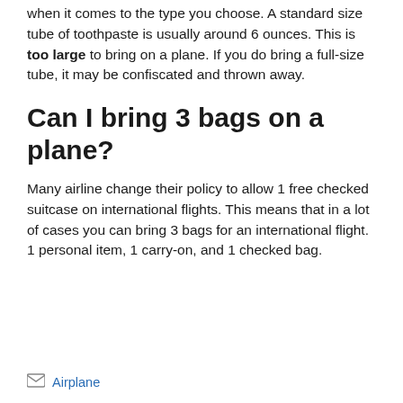when it comes to the type you choose. A standard size tube of toothpaste is usually around 6 ounces. This is too large to bring on a plane. If you do bring a full-size tube, it may be confiscated and thrown away.
Can I bring 3 bags on a plane?
Many airline change their policy to allow 1 free checked suitcase on international flights. This means that in a lot of cases you can bring 3 bags for an international flight. 1 personal item, 1 carry-on, and 1 checked bag.
Airplane